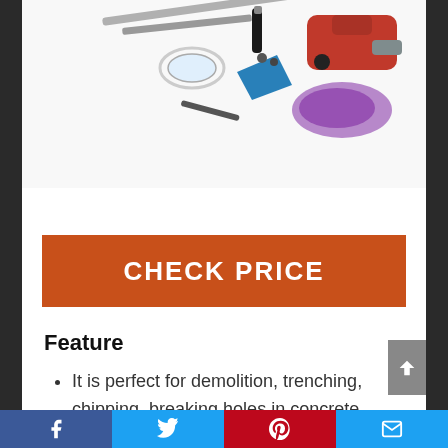[Figure (photo): Product photo showing a collection of power tools and accessories including a red electric demolition tool, safety goggles, chisels, and other attachments on a white background.]
CHECK PRICE
Feature
It is perfect for demolition, trenching, chipping, breaking holes in concrete, block, brick, tile stucco, housing foundation removal, concrete slab, oil chimney and
Facebook | Twitter | Pinterest | Email